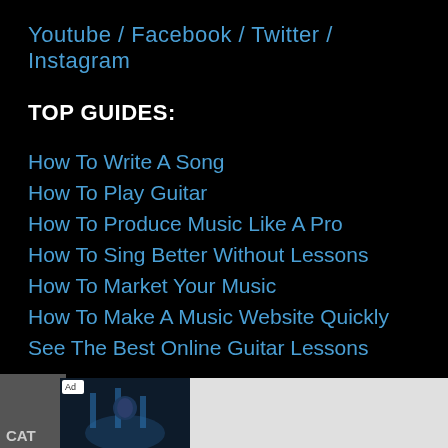Youtube / Facebook / Twitter / Instagram
TOP GUIDES:
How To Write A Song
How To Play Guitar
How To Produce Music Like A Pro
How To Sing Better Without Lessons
How To Market Your Music
How To Make A Music Website Quickly
See The Best Online Guitar Lessons
[Figure (screenshot): Advertisement bar at bottom: Ad badge, concert image, 'Call for Best Prices-Packages', Full Compass Systems, Open button, close button]